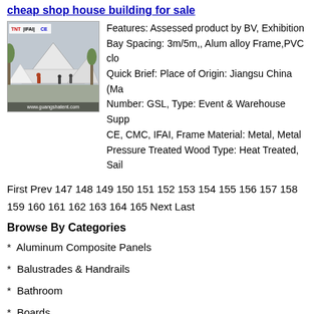cheap shop house building for sale
[Figure (photo): Photo of a white tent/marquee structure with people walking nearby. Logos: TNT, IFAI, CE visible. URL: www.guangshatent.com]
Features: Assessed product by BV, Exhibition Bay Spacing: 3m/5m,, Alum alloy Frame,PVC clo Quick Brief: Place of Origin: Jiangsu China (Ma Number: GSL, Type: Event & Warehouse Supp CE, CMC, IFAI, Frame Material: Metal, Metal Pressure Treated Wood Type: Heat Treated, Sail
First Prev 147 148 149 150 151 152 153 154 155 156 157 158 159 160 161 162 163 164 165 Next Last
Browse By Categories
* Aluminum Composite Panels
* Balustrades & Handrails
* Bathroom
* Boards
* Building Glass